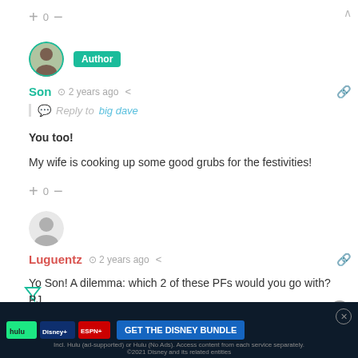+ 0 −
[Figure (photo): Avatar of user Son, circular profile photo of a man]
Author
Son  🕐 2 years ago  < share
Reply to big dave
You too!

My wife is cooking up some good grubs for the festivities!
+ 0 −
[Figure (illustration): Generic gray avatar circle for user Luguentz]
Luguentz  🕐 2 years ago  < share
Yo Son! A dilemma: which 2 of these PFs would you go with? PJ, nce, Clarke. 8 cat roto league, 10 team. Much as I love PJ's production (outside of today, heh), I think some 50%+ anchoring should be
[Figure (screenshot): GET THE DISNEY BUNDLE ad banner — hulu Disney+ ESPN+ logos, 'GET THE DISNEY BUNDLE' CTA button, fine print about Hulu and Disney 2021]